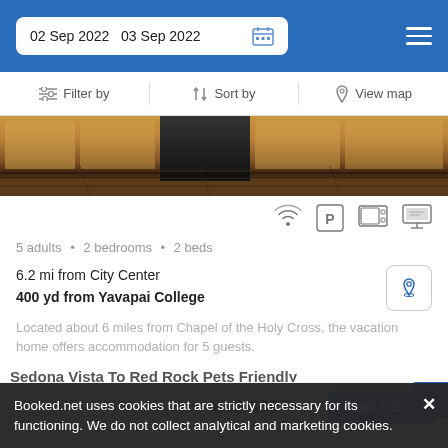02 Sep 2022  03 Sep 2022
Filter by   Sort by   View map
[Figure (photo): Kitchen with wooden cabinetry and dark hardwood floor]
5 adults · 2 bedrooms · 2 beds
6.2 mi from City Center
400 yd from Yavapai College
Located about 6 miles from Chapel of the Holy Cross, the vacation home offers accommodation for 5 guests.
from us$ 399/night
SELECT
Sedona Vista To Red Rock Pets Friendly
Booked.net uses cookies that are strictly necessary for its functioning. We do not collect analytical and marketing cookies.